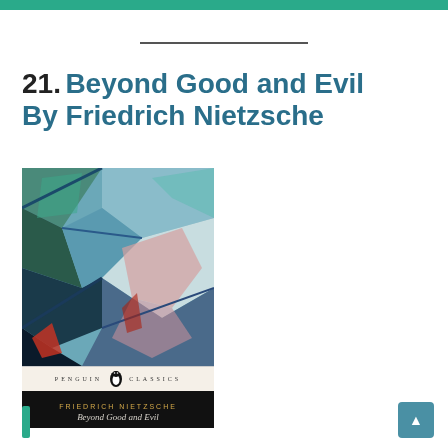21. Beyond Good and Evil By Friedrich Nietzsche
[Figure (photo): Book cover of 'Beyond Good and Evil' by Friedrich Nietzsche, Penguin Classics edition. Top portion shows a colorful cubist/expressionist painting with angular forms in teal, blue, green, and pink. Below is the Penguin Classics banner with the penguin logo. Bottom portion shows a black band with 'FRIEDRICH NIETZSCHE' in gold lettering and 'Beyond Good and Evil' in italic text.]